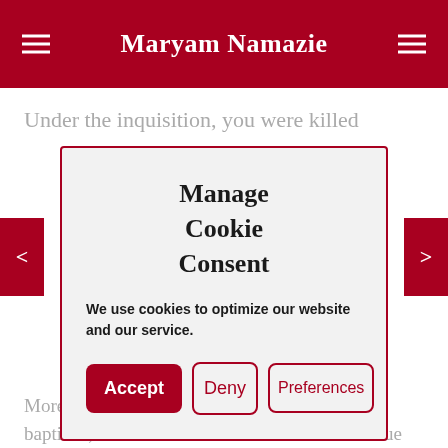Maryam Namazie
Under the inquisition, you were killed
Manage Cookie Consent
We use cookies to optimize our website and our service.
Moreover, under the inquisition, once you were baptized, it could not be undone. The same is true with